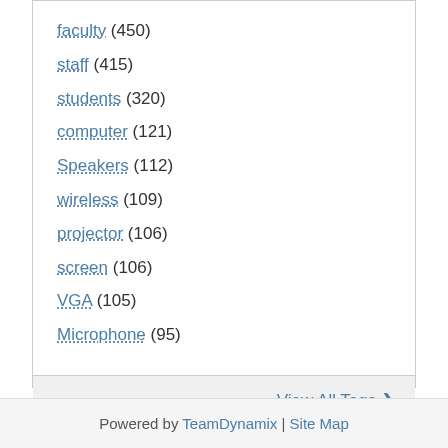faculty (450)
staff (415)
students (320)
computer (121)
Speakers (112)
wireless (109)
projector (106)
screen (106)
VGA (105)
Microphone (95)
View All Tags ❯
Powered by TeamDynamix | Site Map